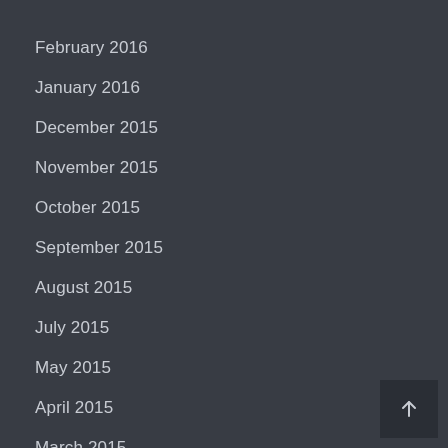February 2016
January 2016
December 2015
November 2015
October 2015
September 2015
August 2015
July 2015
May 2015
April 2015
March 2015
February 2015